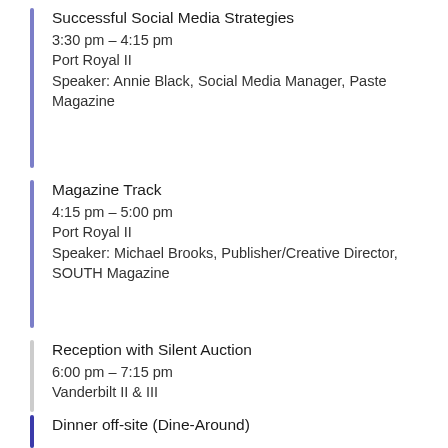Successful Social Media Strategies
3:30 pm – 4:15 pm
Port Royal II
Speaker: Annie Black, Social Media Manager, Paste Magazine
Magazine Track
4:15 pm – 5:00 pm
Port Royal II
Speaker: Michael Brooks, Publisher/Creative Director, SOUTH Magazine
Reception with Silent Auction
6:00 pm – 7:15 pm
Vanderbilt II & III
Dinner off-site (Dine-Around)